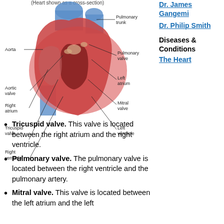(Heart shown as a cross-section)
[Figure (illustration): Cross-section anatomical illustration of the human heart with labeled parts: Aorta, Pulmonary trunk, Aortic valve, Pulmonary valve, Left atrium, Right atrium, Mitral valve, Tricuspid valve, Left ventricle, Right ventricle]
Dr. James Gangemi
Dr. Philip Smith
Diseases & Conditions
The Heart
Tricuspid valve. This valve is located between the right atrium and the right ventricle.
Pulmonary valve. The pulmonary valve is located between the right ventricle and the pulmonary artery.
Mitral valve. This valve is located between the left atrium and the left...